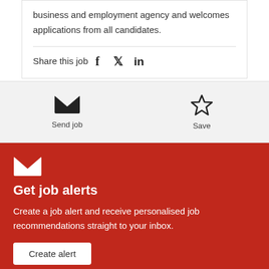business and employment agency and welcomes applications from all candidates.
Share this job
[Figure (infographic): Send job envelope icon with label 'Send job' and Save star icon with label 'Save']
[Figure (infographic): Envelope icon on red background]
Get job alerts
Create a job alert and receive personalised job recommendations straight to your inbox.
Create alert